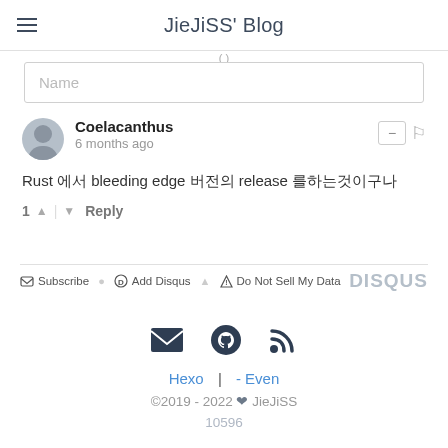JieJiSS' Blog
Name
Coelacanthus
6 months ago
Rust 에서 bleeding edge 버전의 release 를하는것이구나
1 ↑ | ↓ Reply
Subscribe  Add Disqus  Do Not Sell My Data  DISQUS
Hexo | - Even
©2019 - 2022 ❤ JieJiSS
10596